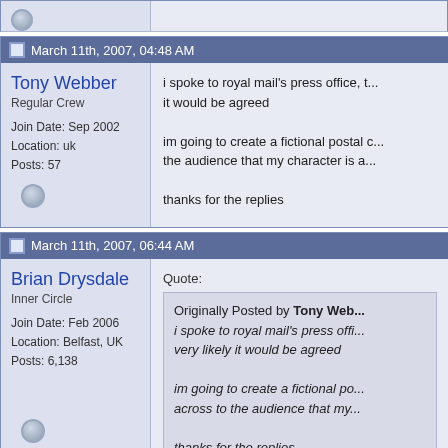March 11th, 2007, 04:48 AM
Tony Webber
Regular Crew
Join Date: Sep 2002
Location: uk
Posts: 57
i spoke to royal mail's press office, t... it would be agreed

im going to create a fictional postal c... the audience that my character is a...

thanks for the replies
March 11th, 2007, 06:44 AM
Brian Drysdale
Inner Circle
Join Date: Feb 2006
Location: Belfast, UK
Posts: 6,138
Quote:
Originally Posted by Tony Web... i spoke to royal mail's press offi... very likely it would be agreed

im going to create a fictional po... across to the audience that my...

thanks for the replies

You could use something that is sim...